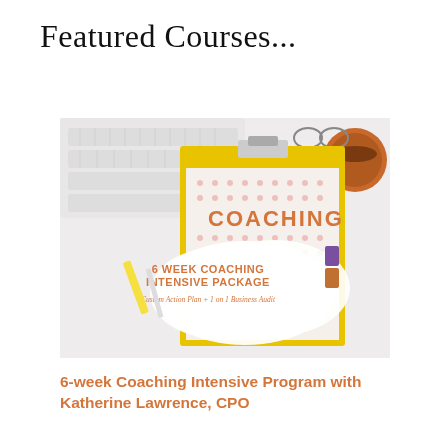Featured Courses...
[Figure (photo): Photo of a clipboard on a desk with keyboard in background showing '6 WEEK COACHING INTENSIVE PACKAGE - Custom Action Plan + 1 on 1 Business Audit' text overlaid on a white paint stroke, with the word COACHING visible on the clipboard paper with a pink polka-dot pattern.]
6-week Coaching Intensive Program with Katherine Lawrence, CPO